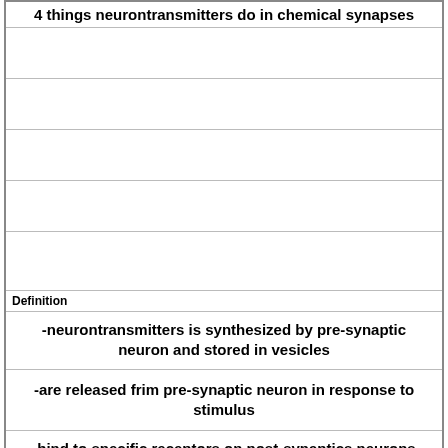4 things neurontransmitters do in chemical synapses
Definition
-neurontransmitters is synthesized by pre-synaptic neuron and stored in vesicles
-are released frim pre-synaptic neuron in response to stimulus
-bind to specific receptors on post-synaptics neurons
-alter physiology of post-syanptic neuron
Term